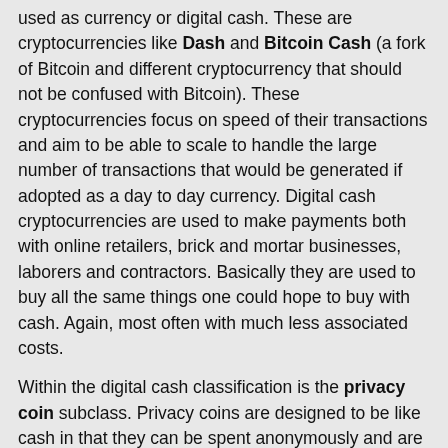used as currency or digital cash. These are cryptocurrencies like Dash and Bitcoin Cash (a fork of Bitcoin and different cryptocurrency that should not be confused with Bitcoin). These cryptocurrencies focus on speed of their transactions and aim to be able to scale to handle the large number of transactions that would be generated if adopted as a day to day currency. Digital cash cryptocurrencies are used to make payments both with online retailers, brick and mortar businesses, laborers and contractors. Basically they are used to buy all the same things one could hope to buy with cash. Again, most often with much less associated costs.
Within the digital cash classification is the privacy coin subclass. Privacy coins are designed to be like cash in that they can be spent anonymously and are fungible meaning each token looks exactly the same as the next. The most popular privacy coins are Dash, Monero, and ZCash. All three use different mechanisms and strategies to keep transactions private. We will dedicate a future lesson to study more specifically the pros and cons of each. It’s important to note however, that not all privacy coins are private for every transaction and often have opt-in or opt-out privacy settings, so keep that in mind when privacy is required. People usually